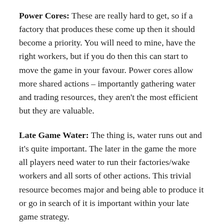Power Cores: These are really hard to get, so if a factory that produces these come up then it should become a priority. You will need to mine, have the right workers, but if you do then this can start to move the game in your favour. Power cores allow more shared actions – importantly gathering water and trading resources, they aren't the most efficient but they are valuable.
Late Game Water: The thing is, water runs out and it's quite important. The later in the game the more all players need water to run their factories/wake workers and all sorts of other actions. This trivial resource becomes major and being able to produce it or go in search of it is important within your late game strategy.